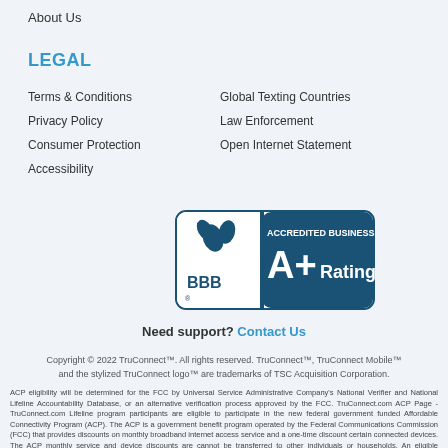About Us
LEGAL
Terms & Conditions
Privacy Policy
Consumer Protection
Accessibility
Global Texting Countries
Law Enforcement
Open Internet Statement
[Figure (logo): BBB Accredited Business A+ Rating badge with blue background and torch logo]
Need support? Contact Us
Copyright © 2022 TruConnect™. All rights reserved. TruConnect™, TruConnect Mobile™ and the stylized TruConnect logo™ are trademarks of TSC Acquisition Corporation.
ACP eligibility will be determined for the FCC by Universal Service Administrative Company's National Verifier and National Lifeline Accountability Database, or an alternative verification process approved by the FCC. TruConnect.com ACP Page - TruConnect.com Lifeline program participants are eligible to participate in the new federal government funded Affordable Connectivity Program (ACP). The ACP is a government benefit program operated by the Federal Communications Commission (FCC) that provides discounts on monthly broadband internet access service and a one-time discount certain connected devices. The ACP monthly service and device discounts are cannot be transferred to other individuals or households. An eligible household is limited to one monthly service discount and one device discount. ACP benefits may be obtained from any participating provider of your choosing and your monthly service benefit may be transferred to another provider subject to regulatory restrictions. If the FCC announces the end the ACP or we discontinue our ACP service offers, we will notify you and you will revert to receiving only the standard FREE Lifeline plan where available and if you are eligible. Where Lifeline plans are not available or if you are not eligible, you may keep your service by selecting from one our existing prepaid or data-only plans and paying the applicable undiscounted rate plus applicable fees and taxes. View the pricing of our current plans. Our standard terms and conditions will apply. The ACP shares the same